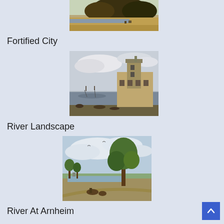[Figure (illustration): Partial view of a Dutch landscape painting showing trees and figures, cropped at top]
Fortified City
[Figure (illustration): Dutch Golden Age painting of a fortified city with a tall tower along a river, with boats and figures in the foreground]
River Landscape
[Figure (illustration): Dutch landscape painting of a river scene with a large tree, figures with cattle on a path, and a wide open sky]
River At Arnheim